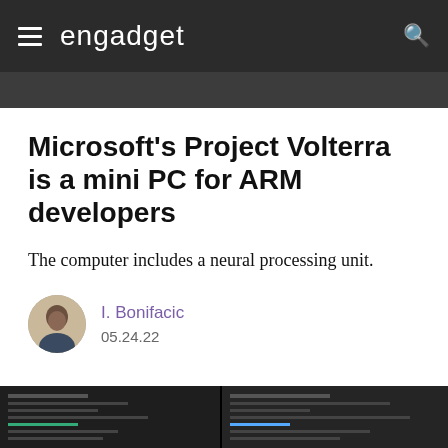engadget
Microsoft's Project Volterra is a mini PC for ARM developers
The computer includes a neural processing unit.
I. Bonifacic
05.24.22
[Figure (screenshot): Partial screenshot of a dark-themed terminal or code editor window visible at the bottom of the page]